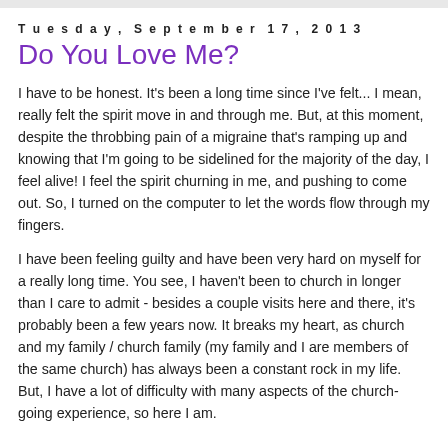Tuesday, September 17, 2013
Do You Love Me?
I have to be honest. It's been a long time since I've felt... I mean, really felt the spirit move in and through me. But, at this moment, despite the throbbing pain of a migraine that's ramping up and knowing that I'm going to be sidelined for the majority of the day, I feel alive! I feel the spirit churning in me, and pushing to come out. So, I turned on the computer to let the words flow through my fingers.
I have been feeling guilty and have been very hard on myself for a really long time. You see, I haven't been to church in longer than I care to admit - besides a couple visits here and there, it's probably been a few years now. It breaks my heart, as church and my family / church family (my family and I are members of the same church) has always been a constant rock in my life. But, I have a lot of difficulty with many aspects of the church-going experience, so here I am.